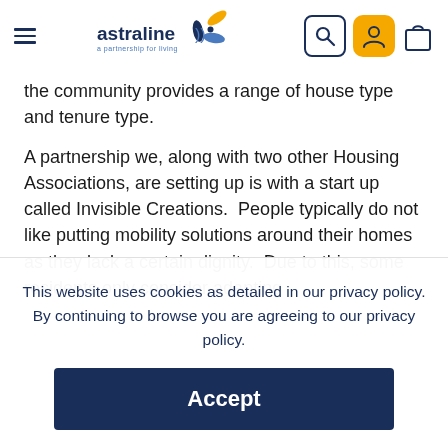astraline — a partnership for living [navigation header with hamburger menu, search, user, and bag icons]
the community provides a range of house type and tenure type.
A partnership we, along with two other Housing Associations, are setting up is with a start up called Invisible Creations.  People typically do not like putting mobility solutions around their homes as they lack a certain dignity.  Due to this, some residents only consider adapting
This website uses cookies as detailed in our privacy policy. By continuing to browse you are agreeing to our privacy policy.
Accept